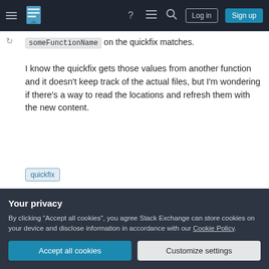Stack Exchange navigation bar with hamburger menu, logo, help, chat, search icons, Log in and Sign up buttons
someFunctionName on the quickfix matches.
I know the quickfix gets those values from another function and it doesn't keep track of the actual files, but I'm wondering if there's a way to read the locations and refresh them with the new content.
quickfix
Share
Improve this question
asked Sep 21, 2017 at 18:46
davidmh
Your privacy
By clicking "Accept all cookies", you agree Stack Exchange can store cookies on your device and disclose information in accordance with our Cookie Policy.
Accept all cookies
Customize settings